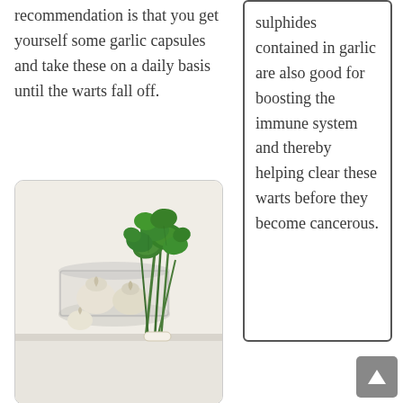recommendation is that you get yourself some garlic capsules and take these on a daily basis until the warts fall off.
[Figure (photo): Photo of garlic cloves in a glass jar with fresh parsley herb on a white surface]
sulphides contained in garlic are also good for boosting the immune system and thereby helping clear these warts before they become cancerous.